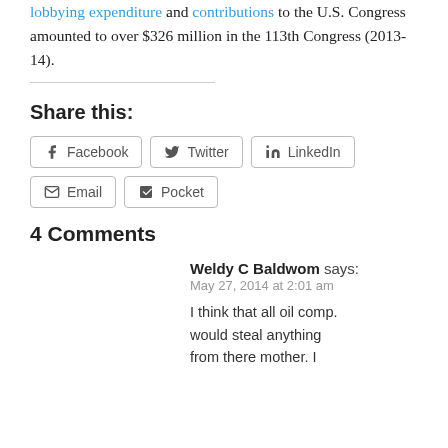lobbying expenditure and contributions to the U.S. Congress amounted to over $326 million in the 113th Congress (2013-14).
Share this:
Facebook  Twitter  LinkedIn  Email  Pocket
4 Comments
Weldy C Baldwom says: May 27, 2014 at 2:01 am  I think that all oil comp. would steal anything from there mother. I